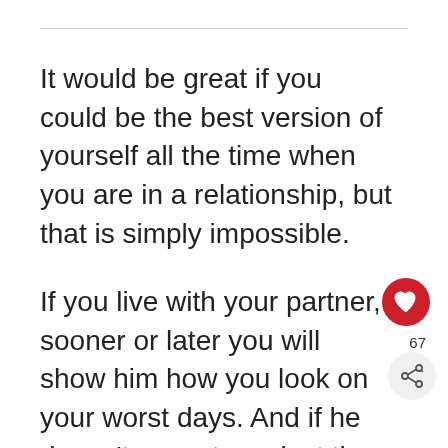It would be great if you could be the best version of yourself all the time when you are in a relationship, but that is simply impossible.

If you live with your partner, sooner or later you will show him how you look on your worst days. And if he doesn't accept you just the way you are, then he is not the right one for you.